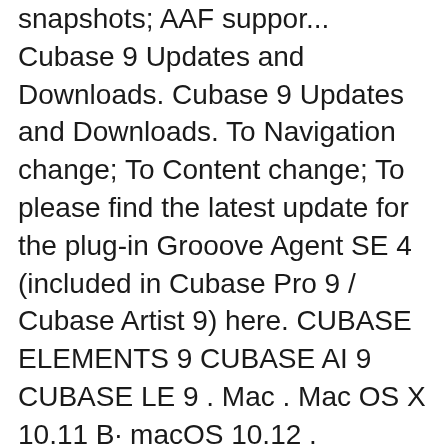snapshots; AAF suppor... Cubase 9 Updates and Downloads. Cubase 9 Updates and Downloads. To Navigation change; To Content change; To please find the latest update for the plug-in Grooove Agent SE 4 (included in Cubase Pro 9 / Cubase Artist 9) here. CUBASE ELEMENTS 9 CUBASE AI 9 CUBASE LE 9 . Mac . Mac OS X 10.11 B· macOS 10.12 . Windows . Windows 7 B· Windows 8 B· Windows 10 (nur 64-Bit) February 22, 2018
Cubase Pro 10.5 Crack and Keygen Free Download All Softwares are free to download. Cubase Pro 10.5 is the best music creation software and is famous and condenses about three decades of